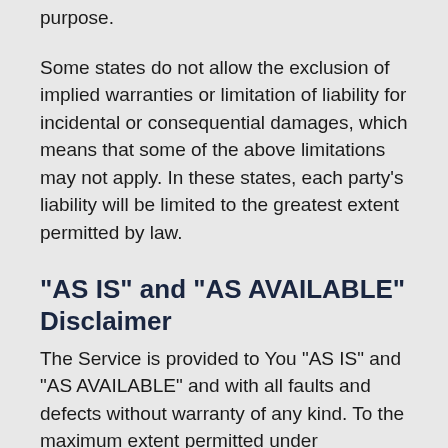purpose.
Some states do not allow the exclusion of implied warranties or limitation of liability for incidental or consequential damages, which means that some of the above limitations may not apply. In these states, each party's liability will be limited to the greatest extent permitted by law.
“AS IS” and “AS AVAILABLE” Disclaimer
The Service is provided to You “AS IS” and “AS AVAILABLE” and with all faults and defects without warranty of any kind. To the maximum extent permitted under applicable law, the Company, on its own behalf and on behalf of its Affiliates and its and their respective licensors and service providers, expressly disclaims all warranties, whether express, implied,